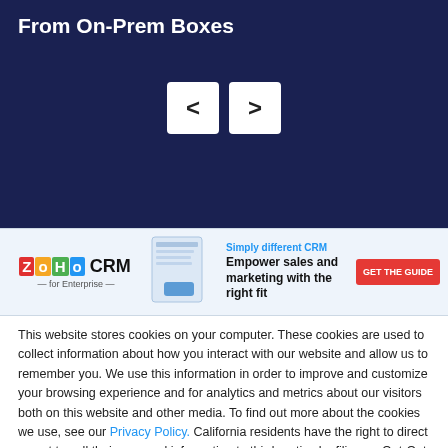From On-Prem Boxes
[Figure (screenshot): Navigation previous and next arrow buttons on dark navy background]
[Figure (screenshot): Zoho CRM for Enterprise advertisement banner with text 'Simply different CRM - Empower sales and marketing with the right fit' and GET THE GUIDE button]
This website stores cookies on your computer. These cookies are used to collect information about how you interact with our website and allow us to remember you. We use this information in order to improve and customize your browsing experience and for analytics and metrics about our visitors both on this website and other media. To find out more about the cookies we use, see our Privacy Policy. California residents have the right to direct us not to sell their personal information to third parties by filing an Opt-Out Request: Do Not Sell My Personal Info.
Accept